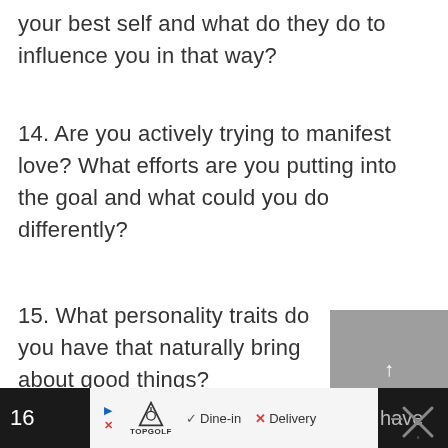your best self and what do they do to influence you in that way?
14. Are you actively trying to manifest love? What efforts are you putting into the goal and what could you do differently?
15. What personality traits do you have that naturally bring about good things?
16. [partially visible]